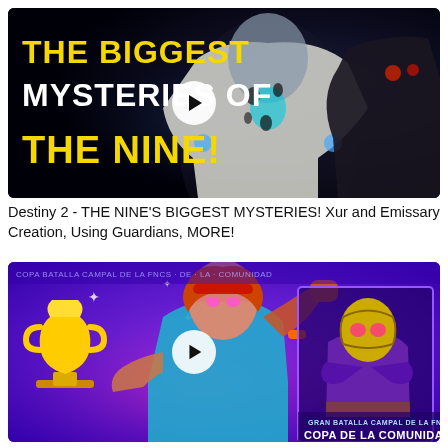[Figure (screenshot): Video thumbnail for Destiny 2 - The Nine's Biggest Mysteries. Dark background with two characters in white and dark armor. Bold yellow and white text reads 'THE BIGGEST MYSTERIES OF THE NINE!' with a play button overlay.]
Destiny 2 - THE NINE'S BIGGEST MYSTERIES! Xur and Emissary Creation, Using Guardians, MORE!
[Figure (screenshot): Video thumbnail for Fortnite Copa de la Comunidad / Gran Batalla Campal de la FNCS. Purple background with animated female character holding a trophy fist-bumping, and a masked character in purple on the right. Play button overlay in center.]